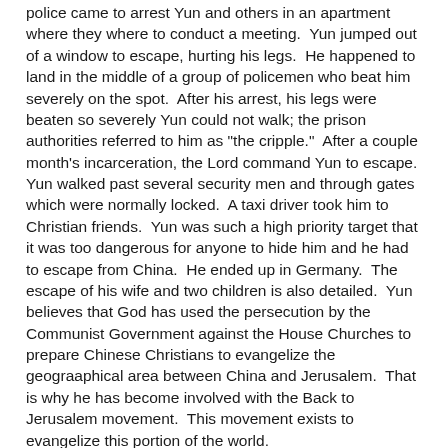police came to arrest Yun and others in an apartment where they where to conduct a meeting.  Yun jumped out of a window to escape, hurting his legs.  He happened to land in the middle of a group of policemen who beat him severely on the spot.  After his arrest, his legs were beaten so severely Yun could not walk; the prison authorities referred to him as "the cripple."  After a couple month's incarceration, the Lord command Yun to escape.  Yun walked past several security men and through gates which were normally locked.  A taxi driver took him to Christian friends.  Yun was such a high priority target that it was too dangerous for anyone to hide him and he had to escape from China.  He ended up in Germany.  The escape of his wife and two children is also detailed.  Yun believes that God has used the persecution by the Communist Government against the House Churches to prepare Chinese Christians to evangelize the geograaphical area between China and Jerusalem.  That is why he has become involved with the Back to Jerusalem movement.  This movement exists to evangelize this portion of the world.
In reading this final portion of "The Heavenly Man", I am struck by some of Brother Yun's statements concerning Christians there.  You can continue to obtain this document...